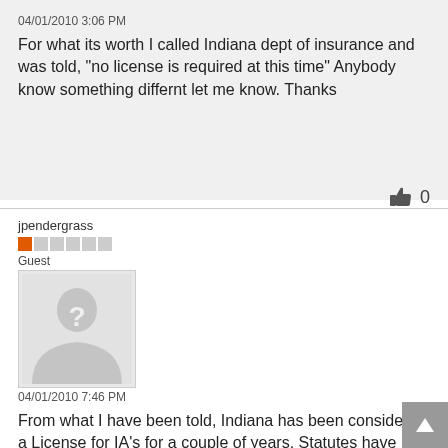04/01/2010 3:06 PM
For what its worth I called Indiana dept of insurance and was told, "no license is required at this time" Anybody know something differnt let me know. Thanks
👍 0
jpendergrass
Guest
Posts:7
[Figure (photo): Default user avatar placeholder with silhouette and question mark]
04/01/2010 7:46 PM
From what I have been told, Indiana has been considering a License for IA's for a couple of years,  Statutes have been written but not yet passed by the General Assembly . Even if passed now,